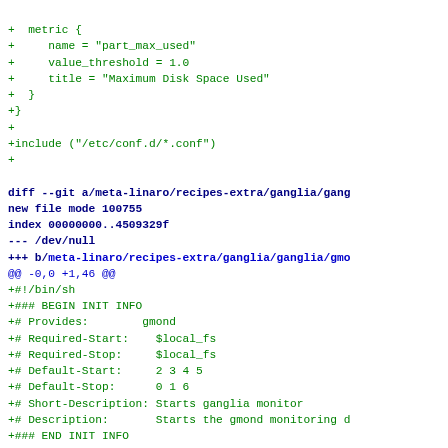Code diff showing ganglia configuration and init script additions